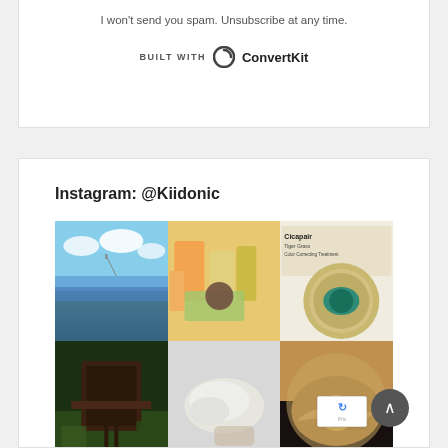I won't send you spam. Unsubscribe at any time.
[Figure (logo): ConvertKit logo with text 'BUILT WITH ConvertKit']
Instagram: @Kiidonic
[Figure (photo): Scenic river or lake view with bridge in background, green forested hills, blue sky with clouds]
[Figure (photo): Flat lay of various skincare and beauty products including tubes and bottles in orange, green, and pink tones]
[Figure (photo): Cicapair Tiger Grass Color Correcting Treatment cream jar with teal/green lid, open showing cream product]
[Figure (photo): Dark wooden house or cabin on stilts surrounded by tropical green trees and palm trees]
[Figure (photo): Close-up of clear/translucent gel or serum product on fingertips against light background]
[Figure (photo): Close-up of beige/tan colored cream or foundation product in a dark jar]